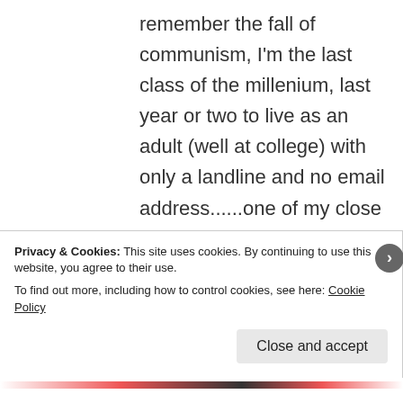remember the fall of communism, I'm the last class of the millenium, last year or two to live as an adult (well at college) with only a landline and no email address......one of my close friends was born in 1985 and we remember completely different
Privacy & Cookies: This site uses cookies. By continuing to use this website, you agree to their use. To find out more, including how to control cookies, see here: Cookie Policy